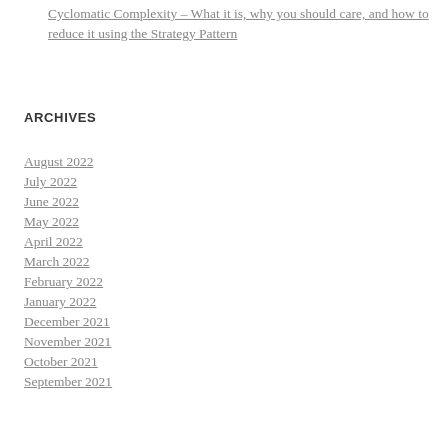Cyclomatic Complexity – What it is, why you should care, and how to reduce it using the Strategy Pattern
ARCHIVES
August 2022
July 2022
June 2022
May 2022
April 2022
March 2022
February 2022
January 2022
December 2021
November 2021
October 2021
September 2021